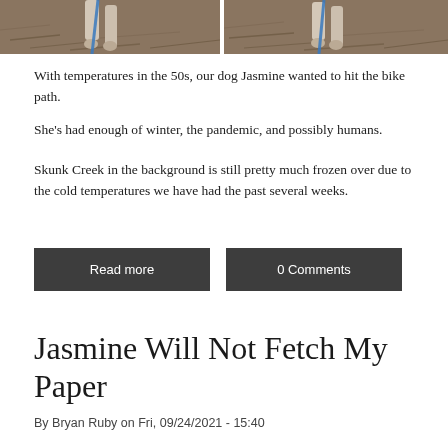[Figure (photo): Two side-by-side photographs of a dog (Jasmine) on a bike path, with mulch/wood chips on the ground and a blue leash visible. Skunk Creek is in the background.]
With temperatures in the 50s, our dog Jasmine wanted to hit the bike path.
She's had enough of winter, the pandemic, and possibly humans.
Skunk Creek in the background is still pretty much frozen over due to the cold temperatures we have had the past several weeks.
Read more
0 Comments
Jasmine Will Not Fetch My Paper
By Bryan Ruby on Fri, 09/24/2021 - 15:40